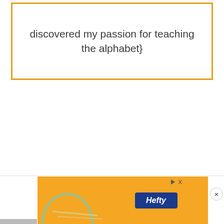discovered my passion for teaching the alphabet}
[Figure (other): Advertisement banner with orange background featuring an arc/hook shape graphic and the Hefty brand logo, with a play button icon and close (X) button overlay]